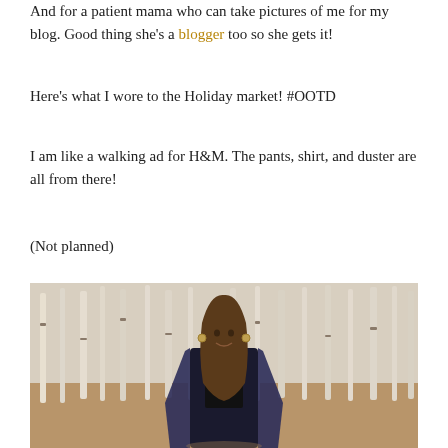And for a patient mama who can take pictures of me for my blog. Good thing she's a blogger too so she gets it!
Here's what I wore to the Holiday market! #OOTD
I am like a walking ad for H&M. The pants, shirt, and duster are all from there!
(Not planned)
[Figure (photo): Young woman with long brown hair smiling, standing in front of bare white birch trees in a winter forest, wearing a black top and a dark floral/velvet duster coat]